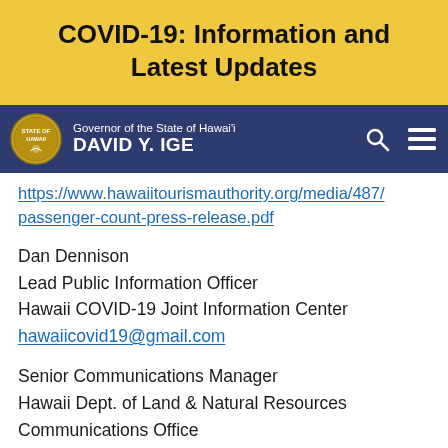COVID-19: Information and Latest Updates
[Figure (screenshot): Hawaii Governor David Y. Ige website navigation bar with state seal logo, governor name, search icon, and menu icon on dark navy background]
https://www.hawaiitourismauthority.org/media/487/passenger-count-press-release.pdf
Dan Dennison
Lead Public Information Officer
Hawaii COVID-19 Joint Information Center
hawaiicovid19@gmail.com
Senior Communications Manager
Hawaii Dept. of Land & Natural Resources
Communications Office
dlnr.comms@hawaii.gov
(808) 587-0396